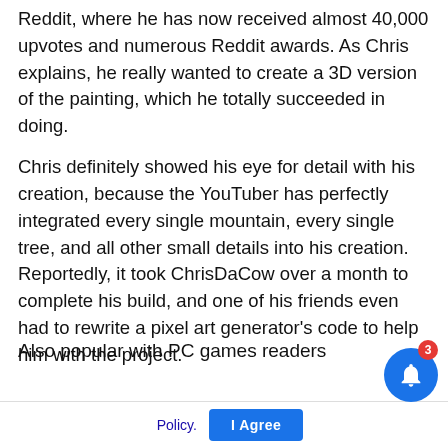Reddit, where he has now received almost 40,000 upvotes and numerous Reddit awards. As Chris explains, he really wanted to create a 3D version of the painting, which he totally succeeded in doing.
Chris definitely showed his eye for detail with his creation, because the YouTuber has perfectly integrated every single mountain, every single tree, and all other small details into his creation. Reportedly, it took ChrisDaCow over a month to complete his build, and one of his friends even had to rewrite a pixel art generator's code to help him with the project.
Also popular with PC games readers
[Figure (screenshot): A popup notification card showing a news article link: 'Intel Arc A380 graphics card goes on sale in the US for $140', timestamped '4 hours ago'. A close button (X) appears above the card. To the right is a partial overlay showing fragments of a cookie/privacy notice with text 'his website you are' and 'rivacy and'. At the bottom is a consent bar with 'Policy.' link and 'I Agree' button. A blue notification bell icon with a red badge showing '3' appears in the bottom right.]